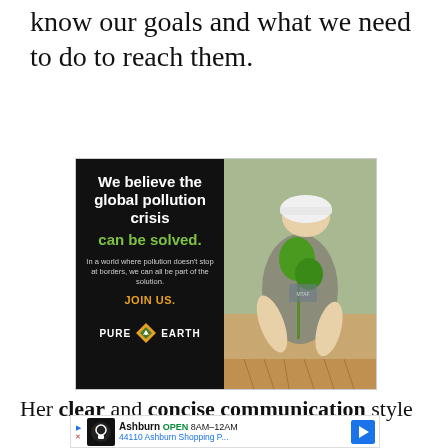know our goals and what we need to do to reach them.
[Figure (infographic): Pure Earth advertisement with black left panel showing text 'We believe the global pollution crisis can be solved. In a world where pollution doesn't stop at borders, we can all be part of the solution. JOIN US. PURE [diamond logo] EARTH' and right panel showing photo of man in hard hat planting a sapling.]
Her clear and concise communication style
[Figure (infographic): Ashburn OPEN 8AM-12AM 44110 Ashburn Shopping P... advertisement banner with navigation arrow icon]